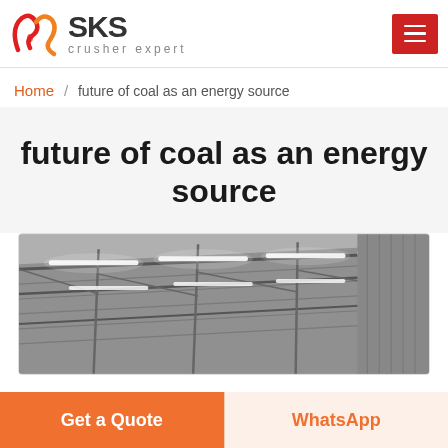SKS crusher expert
Home / future of coal as an energy source
future of coal as an energy source
[Figure (photo): Interior of an industrial warehouse or factory with steel roof trusses and fluorescent lighting strips, viewed from below at an angle.]
Get a Quote
WhatsApp